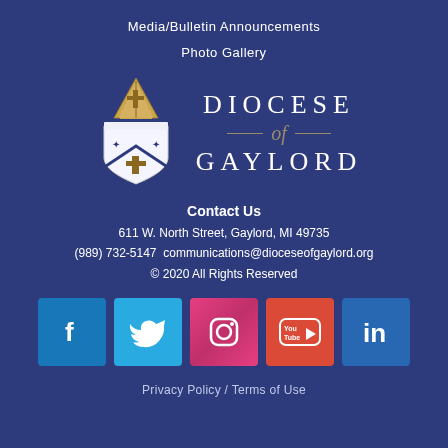Media/Bulletin Announcements
Photo Gallery
[Figure (logo): Diocese of Gaylord logo with bishop's mitre and shield crest on the left, and text 'DIOCESE of GAYLORD' on the right]
Contact Us
611 W. North Street, Gaylord, MI 49735
(989) 732-5147  communications@dioceseofgaylord.org
© 2020 All Rights Reserved
[Figure (infographic): Social media icons row: Facebook (blue), Twitter (light blue), Instagram (pink/magenta), YouTube (red-orange), LinkedIn (blue)]
Privacy Policy / Terms of Use